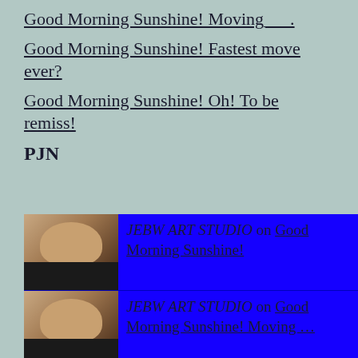Good Morning Sunshine! Moving___.
Good Morning Sunshine! Fastest move ever?
Good Morning Sunshine! Oh! To be remiss!
PJN
[Figure (screenshot): Blue panel with user avatar images (face photos) on the left and linked text entries on the right. Five comment rows visible: 1) JEBW ART STUDIO on Good Morning Sunshine!, 2) JEBW ART STUDIO on Good Morning Sunshine! Moving ..., 3) JEBW ART STUDIO on Good Morning Sunshine! Fastest..., 4) Yemasia Quarellos on Good Morning Sunshine! Fastest..., 5) JEBW ART STUDIO on Good Morning Sunshine!]